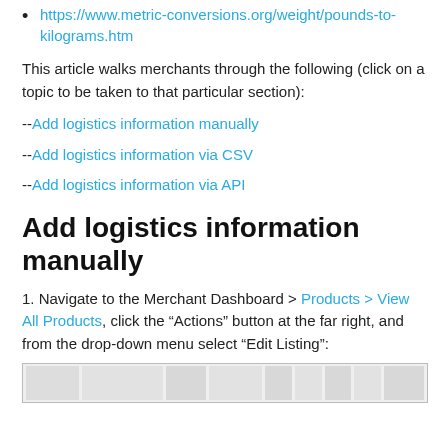https://www.metric-conversions.org/weight/pounds-to-kilograms.htm
This article walks merchants through the following (click on a topic to be taken to that particular section):
--Add logistics information manually
--Add logistics information via CSV
--Add logistics information via API
Add logistics information manually
1. Navigate to the Merchant Dashboard > Products > View All Products, click the “Actions” button at the far right, and from the drop-down menu select “Edit Listing”:
[Figure (screenshot): Screenshot of the Merchant Dashboard product listing table showing product rows with action buttons.]